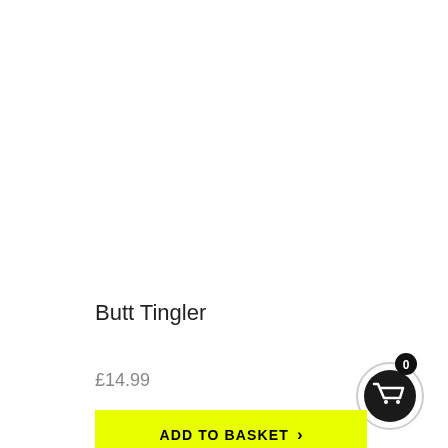Butt Tingler
£14.99
[Figure (other): Shopping cart icon with badge showing 0 items, circular button with grey outer ring and black inner circle containing white cart icon]
ADD TO BASKET >